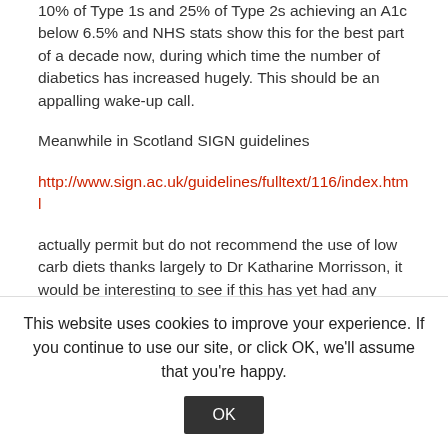10% of Type 1s and 25% of Type 2s achieving an A1c below 6.5% and NHS stats show this for the best part of a decade now, during which time the number of diabetics has increased hugely. This should be an appalling wake-up call.
Meanwhile in Scotland SIGN guidelines
http://www.sign.ac.uk/guidelines/fulltext/116/index.html
actually permit but do not recommend the use of low carb diets thanks largely to Dr Katharine Morrisson, it would be interesting to see if this has yet had any effect on Scottish compared to
This website uses cookies to improve your experience. If you continue to use our site, or click OK, we'll assume that you're happy.